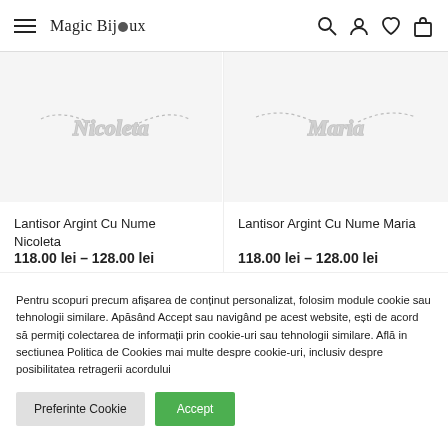Magic Bijoux
[Figure (photo): Silver name necklace with script text 'Nicoleta' on a chain, displayed on light gray background]
Lantisor Argint Cu Nume Nicoleta
118.00 lei – 128.00 lei
[Figure (photo): Silver name necklace with script text 'Maria' on a chain, displayed on light gray background]
Lantisor Argint Cu Nume Maria
118.00 lei – 128.00 lei
Pentru scopuri precum afișarea de conținut personalizat, folosim module cookie sau tehnologii similare. Apăsând Accept sau navigând pe acest website, ești de acord să permiți colectarea de informații prin cookie-uri sau tehnologii similare. Află in sectiunea Politica de Cookies mai multe despre cookie-uri, inclusiv despre posibilitatea retragerii acordului
Preferinte Cookie
Accept